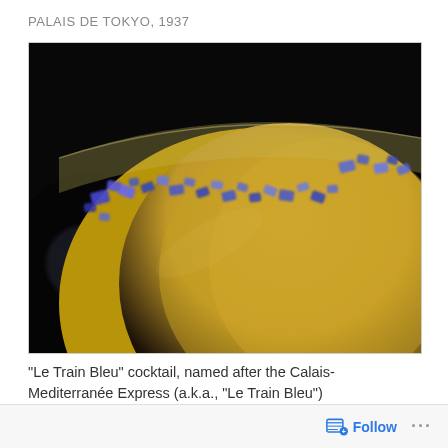PALAIS DE TOKYO, 1937
[Figure (photo): Close-up photo of a cocktail glass rim garnished with blue sugar crystals, filled with a golden-yellow liquid. The background is dark/black.]
“Le Train Bleu” cocktail, named after the Calais-Mediterranée Express (a.k.a., “Le Train Bleu”)
Follow ...